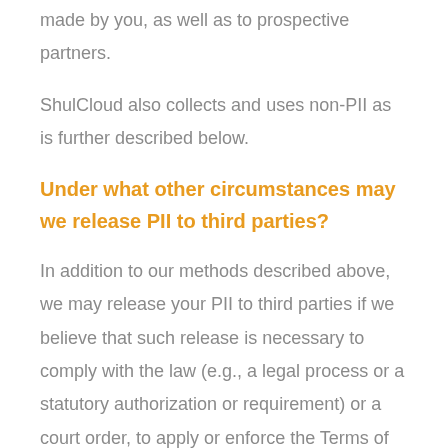made by you, as well as to prospective partners.
ShulCloud also collects and uses non-PII as is further described below.
Under what other circumstances may we release PII to third parties?
In addition to our methods described above, we may release your PII to third parties if we believe that such release is necessary to comply with the law (e.g., a legal process or a statutory authorization or requirement) or a court order, to apply or enforce the Terms of Use or otherwise